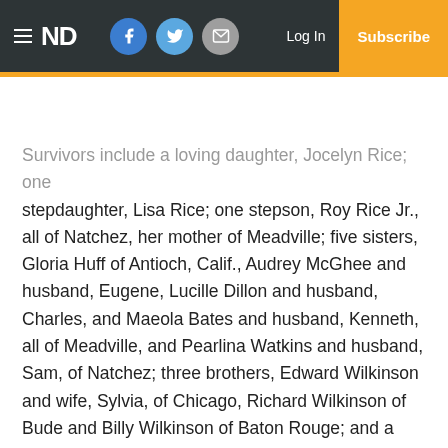ND | Log In | Subscribe
Survivors include a loving daughter, Jocelyn Rice; one stepdaughter, Lisa Rice; one stepson, Roy Rice Jr., all of Natchez, her mother of Meadville; five sisters, Gloria Huff of Antioch, Calif., Audrey McGhee and husband, Eugene, Lucille Dillon and husband, Charles, and Maeola Bates and husband, Kenneth, all of Meadville, and Pearlina Watkins and husband, Sam, of Natchez; three brothers, Edward Wilkinson and wife, Sylvia, of Chicago, Richard Wilkinson of Bude and Billy Wilkinson of Baton Rouge; and a number of nieces, nephews, other relatives and friends.